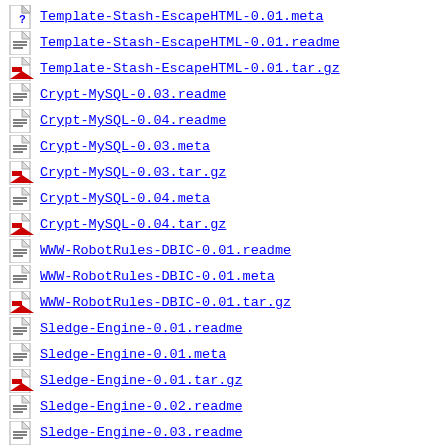Template-Stash-EscapeHTML-0.01.meta
Template-Stash-EscapeHTML-0.01.readme
Template-Stash-EscapeHTML-0.01.tar.gz
Crypt-MySQL-0.03.readme
Crypt-MySQL-0.04.readme
Crypt-MySQL-0.03.meta
Crypt-MySQL-0.03.tar.gz
Crypt-MySQL-0.04.meta
Crypt-MySQL-0.04.tar.gz
WWW-RobotRules-DBIC-0.01.readme
WWW-RobotRules-DBIC-0.01.meta
WWW-RobotRules-DBIC-0.01.tar.gz
Sledge-Engine-0.01.readme
Sledge-Engine-0.01.meta
Sledge-Engine-0.01.tar.gz
Sledge-Engine-0.02.readme
Sledge-Engine-0.03.readme